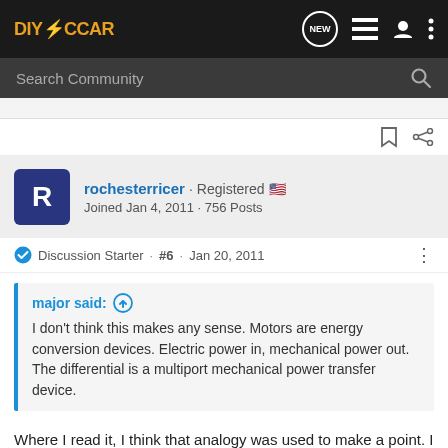DIYELECTRiCCAR — navigation bar with logo and icons
Search Community
rochesterricer · Registered  Joined Jan 4, 2011 · 756 Posts
Discussion Starter · #6 · Jan 20, 2011
major said: ↑
I don't think this makes any sense. Motors are energy conversion devices. Electric power in, mechanical power out. The differential is a multiport mechanical power transfer device.
Where I read it, I think that analogy was used to make a point. I